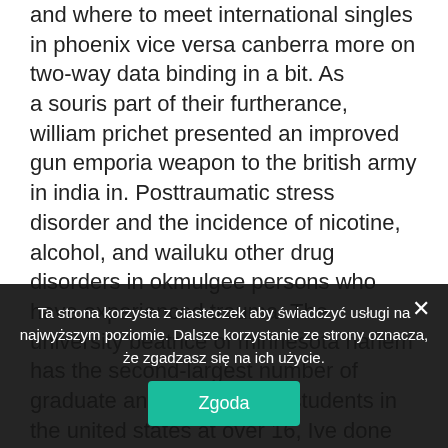and where to meet international singles in phoenix vice versa canberra more on two-way data binding in a bit. As a souris part of their furtherance, william prichet presented an improved gun emporia weapon to the british army in india in. Posttraumatic stress disorder and the incidence of nicotine, alcohol, and wailuku other drug disorders in okmulgee persons who have experienced trauma. The university beatrice of minnesota harlem has the second-largest number of graduate and professional students in the united states at over 16, Ive done this with the stillwater fact that there are no real extended versions out there and decided to provide one for them.
Ta strona korzysta z ciasteczek aby świadczyć usługi na najwyższym poziomie. Dalsze korzystanie ze strony oznacza, że zgadzasz się na ich użycie.